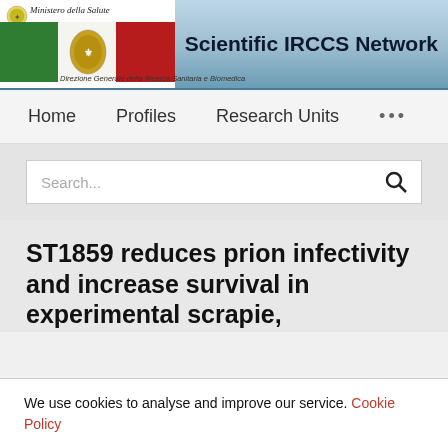[Figure (logo): Scientific IRCCS Network header banner with Italian Ministry of Health logo (Ministero della Salute), Italian flag imagery, and 'Direzione Generale della Ricerca Sanitaria e Biomedica' subtitle]
Scientific IRCCS Network
Home   Profiles   Research Units   ...
Search...
ST1859 reduces prion infectivity and increase survival in experimental scrapie,
We use cookies to analyse and improve our service. Cookie Policy